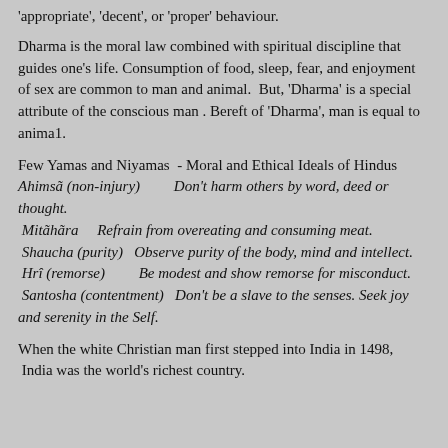'appropriate', 'decent', or 'proper' behaviour.
Dharma is the moral law combined with spiritual discipline that guides one's life. Consumption of food, sleep, fear, and enjoyment of sex are common to man and animal.  But, 'Dharma' is a special attribute of the conscious man . Bereft of 'Dharma', man is equal to anima1.
Few Yamas and Niyamas  - Moral and Ethical Ideals of Hindus
Ahimsã (non-injury)         Don't harm others by word, deed or thought.
Mitãhãra     Refrain from overeating and consuming meat.
Shaucha (purity)   Observe purity of the body, mind and intellect.
Hrî (remorse)         Be modest and show remorse for misconduct.
Santosha (contentment)   Don't be a slave to the senses. Seek joy and serenity in the Self.
When the white Christian man first stepped into India in 1498, India was the world's richest country.